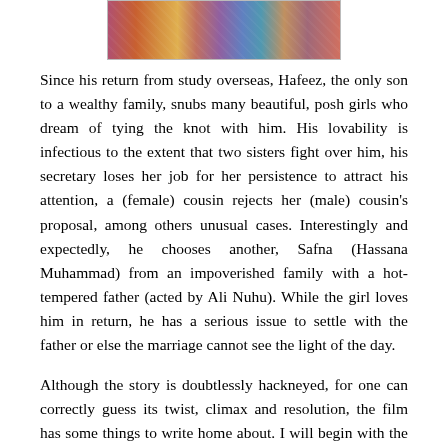[Figure (photo): A group photo showing people in colorful traditional attire/clothing]
Since his return from study overseas, Hafeez, the only son to a wealthy family, snubs many beautiful, posh girls who dream of tying the knot with him. His lovability is infectious to the extent that two sisters fight over him, his secretary loses her job for her persistence to attract his attention, a (female) cousin rejects her (male) cousin's proposal, among others unusual cases. Interestingly and expectedly, he chooses another, Safna (Hassana Muhammad) from an impoverished family with a hot-tempered father (acted by Ali Nuhu). While the girl loves him in return, he has a serious issue to settle with the father or else the marriage cannot see the light of the day.
Although the story is doubtlessly hackneyed, for one can correctly guess its twist, climax and resolution, the film has some things to write home about. I will begin with the casting. It is excellent because we see new faces as parents. Yakubu